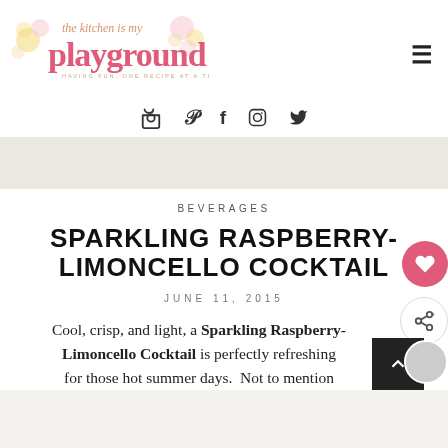[Figure (logo): The Kitchen is My Playground blog logo with decorative floral elements, pink and gold script text]
HAVING FUN, ONE RECIPE AT A TIME
[Figure (infographic): Social media icons: Pinterest, Facebook, Instagram, Twitter]
BEVERAGES
SPARKLING RASPBERRY-LIMONCELLO COCKTAIL
JUNE 11, 2015
Cool, crisp, and light, a Sparkling Raspberry-Limoncello Cocktail is perfectly refreshing for those hot summer days. Not to mention